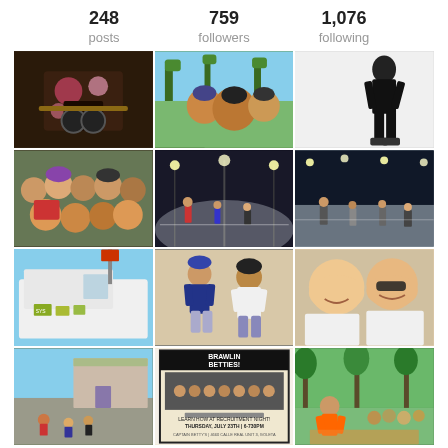248
posts
759
followers
1,076
following
[Figure (photo): Roller derby skates decorated with flowers]
[Figure (photo): Group selfie of roller derby players outdoors with palm trees]
[Figure (photo): Person in roller skates posing in athletic wear on white background]
[Figure (photo): Group selfie of roller derby team with helmets]
[Figure (photo): Roller derby players on outdoor rink at night under lights]
[Figure (photo): Roller derby players on outdoor rink at night]
[Figure (photo): White vehicle with stickers]
[Figure (photo): Two roller derby players in gear on rink]
[Figure (photo): Two women smiling selfie outdoors]
[Figure (photo): Roller derby players skating at outdoor rink]
[Figure (photo): Brawlin Betties recruitment flyer poster]
[Figure (photo): Roller derby players in outdoor event with crowd]